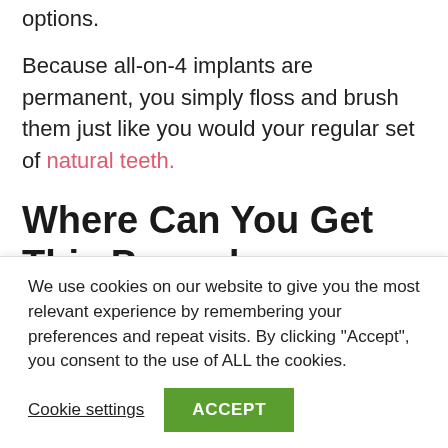options.
Because all-on-4 implants are permanent, you simply floss and brush them just like you would your regular set of natural teeth.
Where Can You Get This Procedure Done?
The first obvious place you should be consulting is your personal family dentist. If you are looking for
We use cookies on our website to give you the most relevant experience by remembering your preferences and repeat visits. By clicking "Accept", you consent to the use of ALL the cookies.
Cookie settings  ACCEPT